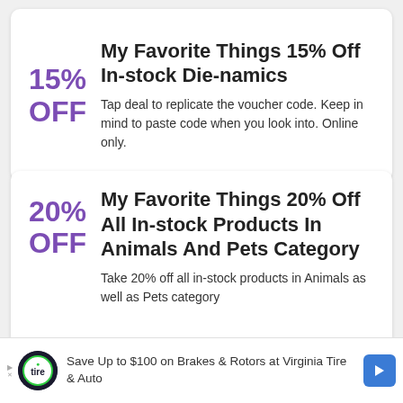My Favorite Things 15% Off In-stock Die-namics
Tap deal to replicate the voucher code. Keep in mind to paste code when you look into. Online only.
My Favorite Things 20% Off All In-stock Products In Animals And Pets Category
Take 20% off all in-stock products in Animals as well as Pets category
Save Up to $100 on Brakes & Rotors at Virginia Tire & Auto